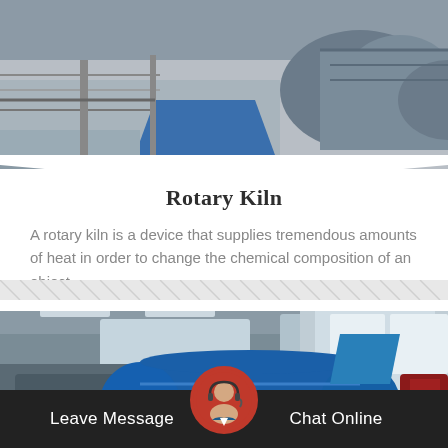[Figure (photo): Industrial machinery photo showing rotary kiln equipment with conveyor belts, a blue metal roof structure, and large cylindrical kiln drum in an industrial facility]
Rotary Kiln
A rotary kiln is a device that supplies tremendous amounts of heat in order to change the chemical composition of an object.
[Figure (photo): Industrial facility interior showing large blue cylindrical machinery, possibly a ball mill or rotary equipment, inside a warehouse with high ceilings and windows]
Leave Message  Chat Online